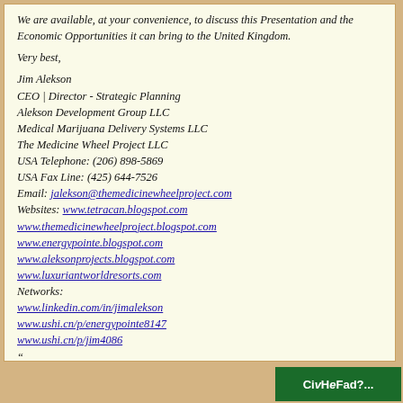We are available, at your convenience, to discuss this Presentation and the Economic Opportunities it can bring to the United Kingdom.

Very best,

Jim Alekson
CEO | Director - Strategic Planning
Alekson Development Group LLC
Medical Marijuana Delivery Systems LLC
The Medicine Wheel Project LLC
USA Telephone: (206) 898-5869
USA Fax Line: (425) 644-7526
Email: jalekson@themedicinewheelproject.com
Websites: www.tetracan.blogspot.com
www.themedicinewheelproject.blogspot.com
www.energypointe.blogspot.com
www.aleksonprojects.blogspot.com
www.luxuriantworldresorts.com
Networks:
www.linkedin.com/in/jimalekson
www.ushi.cn/p/energypointe8147
www.ushi.cn/p/jim4086
“